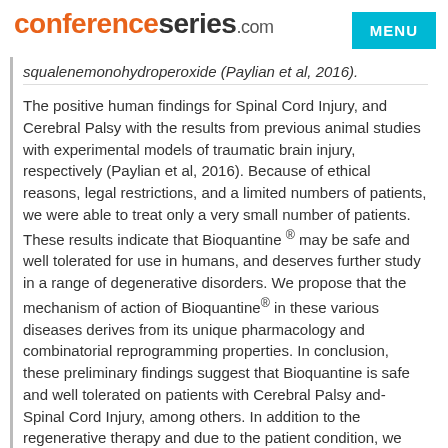conferenceseries.com
squalenemonohydroperoxide (Paylian et al, 2016).
The positive human findings for Spinal Cord Injury, and Cerebral Palsy with the results from previous animal studies with experimental models of traumatic brain injury, respectively (Paylian et al, 2016). Because of ethical reasons, legal restrictions, and a limited numbers of patients, we were able to treat only a very small number of patients. These results indicate that Bioquantine ® may be safe and well tolerated for use in humans, and deserves further study in a range of degenerative disorders. We propose that the mechanism of action of Bioquantine® in these various diseases derives from its unique pharmacology and combinatorial reprogramming properties. In conclusion, these preliminary findings suggest that Bioquantine is safe and well tolerated on patients with Cerebral Palsy and- Spinal Cord Injury, among others. In addition to the regenerative therapy and due to the patient condition, we decided to include the Restore- Sensor SureScan5-6 . Based on the of electrical stimulation for rehabilitation and regeneration after spinal